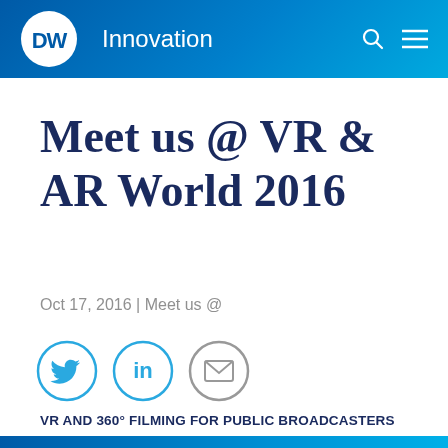DW Innovation
Meet us @ VR & AR World 2016
Oct 17, 2016 | Meet us @
[Figure (infographic): Social share icons: Twitter (blue circle), LinkedIn (blue circle), Email (grey circle)]
VR AND 360° FILMING FOR PUBLIC BROADCASTERS